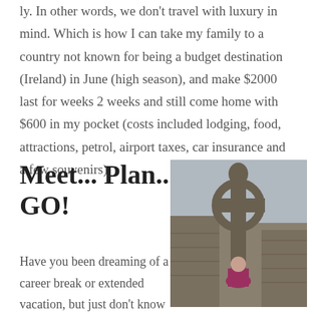ly. In other words, we don't travel with luxury in mind. Which is how I can take my family to a country not known for being a budget destination (Ireland) in June (high season), and make $2000 last for weeks 2 weeks and still come home with $600 in my pocket (costs included lodging, food, attractions, petrol, airport taxes, car insurance and a few souvenirs).
Meet... Plan... GO!
[Figure (photo): A woman standing in front of a tall ornate Celtic cross made of stone, with ruins of a stone building in the background and an overcast sky.]
Have you been dreaming of a career break or extended vacation, but just don't know